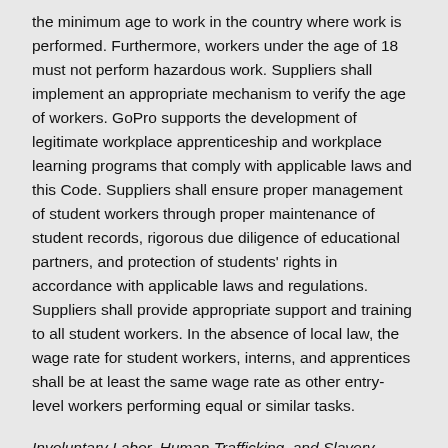the minimum age to work in the country where work is performed. Furthermore, workers under the age of 18 must not perform hazardous work. Suppliers shall implement an appropriate mechanism to verify the age of workers. GoPro supports the development of legitimate workplace apprenticeship and workplace learning programs that comply with applicable laws and this Code. Suppliers shall ensure proper management of student workers through proper maintenance of student records, rigorous due diligence of educational partners, and protection of students' rights in accordance with applicable laws and regulations. Suppliers shall provide appropriate support and training to all student workers. In the absence of local law, the wage rate for student workers, interns, and apprentices shall be at least the same wage rate as other entry-level workers performing equal or similar tasks.
Involuntary Labor, Human Trafficking, and Slavery. Workers must not be forced to work against their will. Our suppliers must not use forced labor - slave, prison, indentured, bonded,